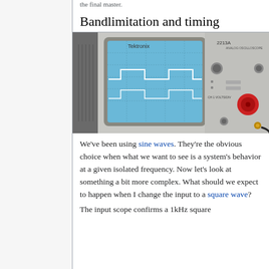Bandlimitation and timing
[Figure (photo): Photograph of a Tektronix 2213A oscilloscope showing a square wave on its screen, with the oscilloscope controls visible on the right side.]
We've been using sine waves. They're the obvious choice when what we want to see is a system's behavior at a given isolated frequency. Now let's look at something a bit more complex. What should we expect to happen when I change the input to a square wave?
The input scope confirms a 1kHz square